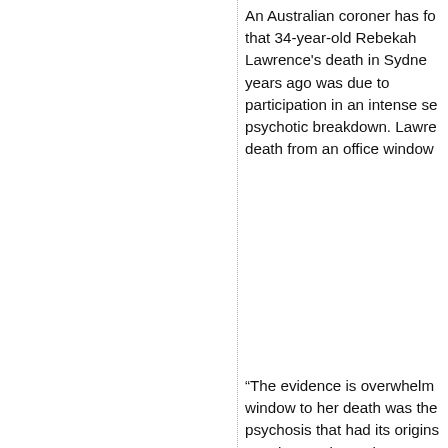An Australian coroner has found that 34-year-old Rebekah Lawrence's death in Sydney years ago was due to participation in an intense se... psychotic breakdown. Lawrence death from an office window...
“The evidence is overwhelm... window to her death was the... psychosis that had its origins... as ‘The Turning Point,’” Dep... MacPherson said.
Last updated 20-Mar-2016
[Figure (other): Navigation arrow pointing left (amber/gold triangle) followed by link text 'New Athe...']
© Copyright 1994-2016 Robert T. Car...